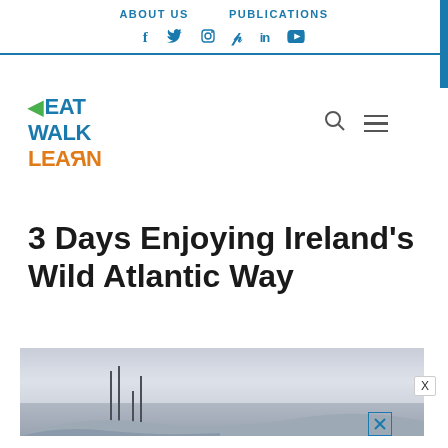ABOUT US   PUBLICATIONS
f  twitter  instagram  pinterest  in  youtube
[Figure (logo): Eat Walk Learn logo with green arrow, blue EAT WALK text and orange LEARN text]
3 Days Enjoying Ireland’s Wild Atlantic Way
[Figure (photo): Coastal scene with sailboat masts against overcast sky and distant hills, Ireland's Wild Atlantic Way]